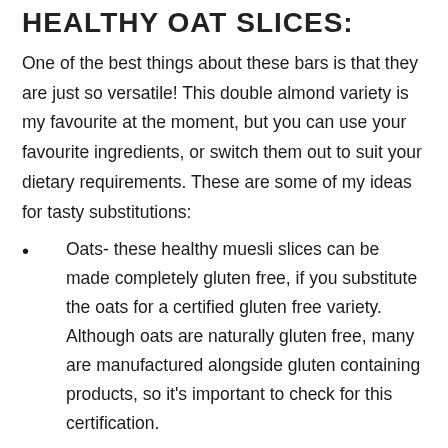HEALTHY OAT SLICES
One of the best things about these bars is that they are just so versatile! This double almond variety is my favourite at the moment, but you can use your favourite ingredients, or switch them out to suit your dietary requirements. These are some of my ideas for tasty substitutions:
Oats- these healthy muesli slices can be made completely gluten free, if you substitute the oats for a certified gluten free variety. Although oats are naturally gluten free, many are manufactured alongside gluten containing products, so it's important to check for this certification.